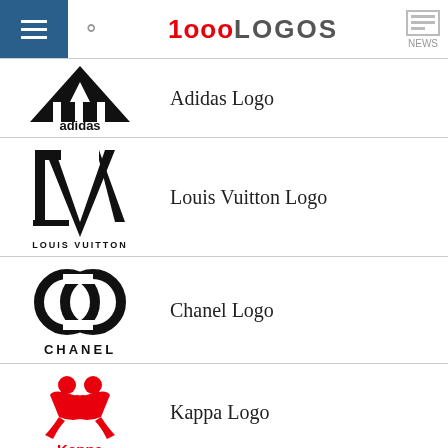1000LOGOS NEWS
[Figure (logo): Adidas logo — three stripes triangular mark above 'adidas' wordmark in black]
Adidas Logo
[Figure (logo): Louis Vuitton LV monogram logo above 'LOUIS VUITTON' wordmark in black]
Louis Vuitton Logo
[Figure (logo): Chanel interlocking CC logo above 'CHANEL' wordmark in black]
Chanel Logo
[Figure (logo): Kappa two silhouettes logo above 'Kappa' wordmark in red]
Kappa Logo
[Figure (logo): Under Armour UA interlocking logo in black]
Under Armour Logo